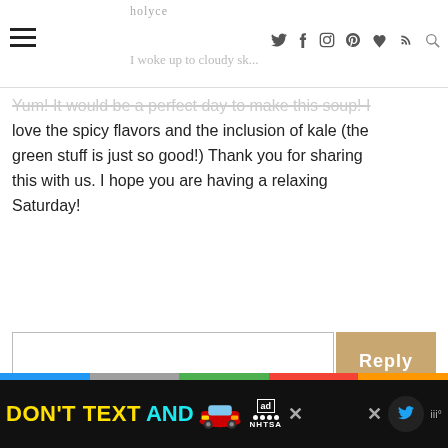☰ [social icons: twitter, facebook, instagram, pinterest, heart, rss, search]
Yum! It would be a perfect day to make this soup! I love the spicy flavors and the inclusion of kale (the green stuff is just so good!) Thank you for sharing this with us. I hope you are having a relaxing Saturday!
Reply
Chris
November 20, 2010 at 2:59 PM
Chorizo rocks my world and I have recently made the acquaintance of pasilla chilies, so I will love this recipe when I try it soon.
Great post.
[Figure (illustration): Advertisement banner: DON'T TEXT AND [car emoji] with NHTSA logo]